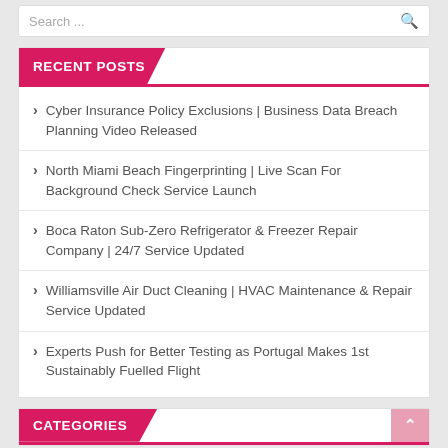Search ...
RECENT POSTS
Cyber Insurance Policy Exclusions | Business Data Breach Planning Video Released
North Miami Beach Fingerprinting | Live Scan For Background Check Service Launch
Boca Raton Sub-Zero Refrigerator & Freezer Repair Company | 24/7 Service Updated
Williamsville Air Duct Cleaning | HVAC Maintenance & Repair Service Updated
Experts Push for Better Testing as Portugal Makes 1st Sustainably Fuelled Flight
CATEGORIES